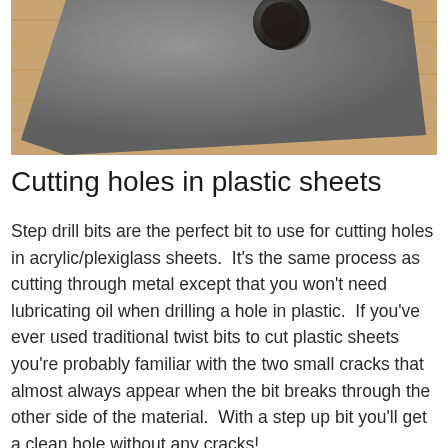[Figure (photo): Close-up photo of a dark gray metal plate or sheet with a circular hole drilled through it, resting on a wooden surface. The metal piece has a rectangular shape with rounded corner visible.]
Cutting holes in plastic sheets
Step drill bits are the perfect bit to use for cutting holes in acrylic/plexiglass sheets.  It's the same process as cutting through metal except that you won't need lubricating oil when drilling a hole in plastic.  If you've ever used traditional twist bits to cut plastic sheets you're probably familiar with the two small cracks that almost always appear when the bit breaks through the other side of the material.  With a step up bit you'll get a clean hole without any cracks!